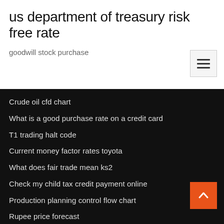us department of treasury risk free rate
goodwill stock purchase
Crude oil cfd chart
What is a good purchase rate on a credit card
T1 trading halt code
Current money factor rates toyota
What does fair trade mean ks2
Check my child tax credit payment online
Production planning control flow chart
Rupee price forecast
Investing.com coffee market